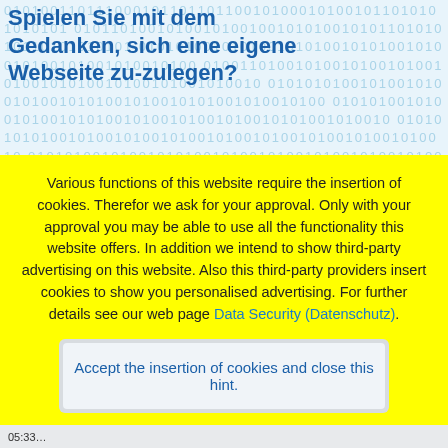Spielen Sie mit dem Gedanken, sich eine eigene Webseite zu-zulegen?
Various functions of this website require the insertion of cookies. Therefor we ask for your approval. Only with your approval you may be able to use all the functionality this website offers. In addition we intend to show third-party advertising on this website. Also this third-party providers insert cookies to show you personalised advertising. For further details see our web page Data Security (Datenschutz).
Accept the insertion of cookies and close this hint.
(On our Datenschutz-Page you can withdraw your acceptance at any time.)